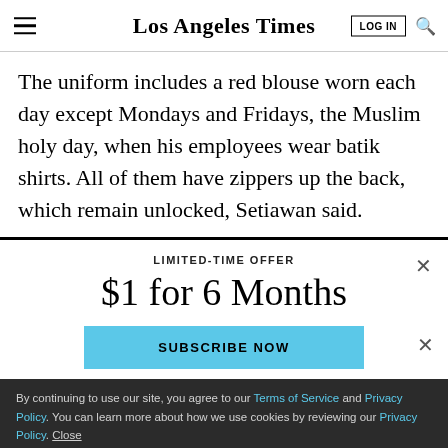Los Angeles Times
The uniform includes a red blouse worn each day except Mondays and Fridays, the Muslim holy day, when his employees wear batik shirts. All of them have zippers up the back, which remain unlocked, Setiawan said.
LIMITED-TIME OFFER
$1 for 6 Months
SUBSCRIBE NOW
By continuing to use our site, you agree to our Terms of Service and Privacy Policy. You can learn more about how we use cookies by reviewing our Privacy Policy. Close